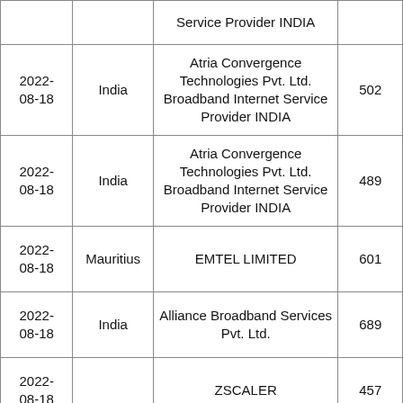| Date | Country | ISP / Organization | AS Count |
| --- | --- | --- | --- |
|  |  | Service Provider INDIA |  |
| 2022-08-18 | India | Atria Convergence Technologies Pvt. Ltd. Broadband Internet Service Provider INDIA | 502 |
| 2022-08-18 | India | Atria Convergence Technologies Pvt. Ltd. Broadband Internet Service Provider INDIA | 489 |
| 2022-08-18 | Mauritius | EMTEL LIMITED | 601 |
| 2022-08-18 | India | Alliance Broadband Services Pvt. Ltd. | 689 |
| 2022-08-18 |  | ZSCALER | 457 |
|  |  |  |  |